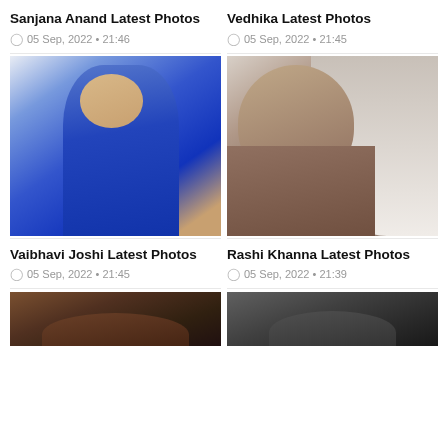Sanjana Anand Latest Photos
05 Sep, 2022 • 21:46
[Figure (photo): Photo of Sanjana Anand in a blue dress]
Vedhika Latest Photos
05 Sep, 2022 • 21:45
[Figure (photo): Photo of Vedhika, close-up portrait]
Vaibhavi Joshi Latest Photos
05 Sep, 2022 • 21:45
Rashi Khanna Latest Photos
05 Sep, 2022 • 21:39
[Figure (photo): Partial photo of Vaibhavi Joshi]
[Figure (photo): Partial photo of Rashi Khanna]